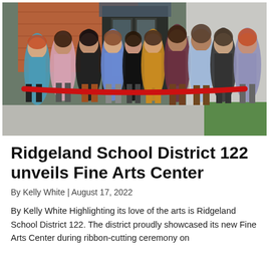[Figure (photo): Group photo of approximately 11 people standing in front of a modern building entrance with brick and grey panel walls and large dark-framed glass doors. They are holding a red ribbon across the front, likely at a ribbon-cutting ceremony. The people are dressed in casual to semi-formal attire.]
Ridgeland School District 122 unveils Fine Arts Center
By Kelly White | August 17, 2022
By Kelly White Highlighting its love of the arts is Ridgeland School District 122. The district proudly showcased its new Fine Arts Center during ribbon-cutting ceremony on